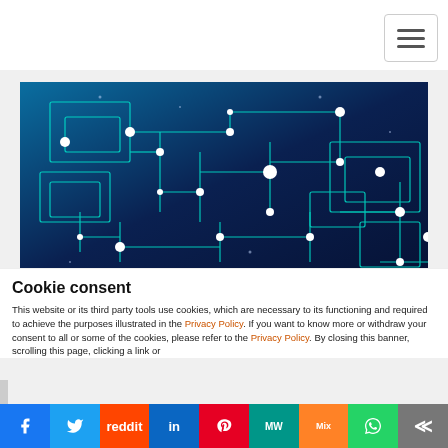Navigation bar with hamburger menu
[Figure (illustration): Abstract digital circuit board network graphic with glowing teal lines and white dot nodes on dark blue background]
Cookie consent
This website or its third party tools use cookies, which are necessary to its functioning and required to achieve the purposes illustrated in the Privacy Policy. If you want to know more or withdraw your consent to all or some of the cookies, please refer to the Privacy Policy. By closing this banner, scrolling this page, clicking a link or
f  Twitter  Reddit  in  Pinterest  MW  Mix  WhatsApp  Share